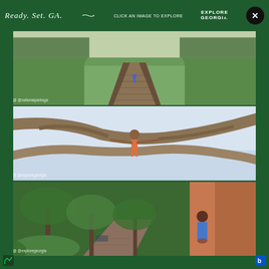Ready. Set. GA. — Click An Image To Explore — EXPLORE GEORGIA
[Figure (photo): A wooden boardwalk path leading towards a large grass-covered Native American mound in the background, with a child running along the path. Two people sit at the edge in the foreground. Green lawns on both sides. Instagram credit: @nationalparks or similar.]
[Figure (photo): A shirtless young man standing on large driftwood tree branches with arms outstretched, with a calm body of water and sky in the background. Instagram credit visible at bottom left.]
[Figure (photo): A street scene in Savannah, Georgia with large live oak trees draped over a brick-paved street. A woman in a blue jacket poses in front of a terracotta-colored building on the right side.]